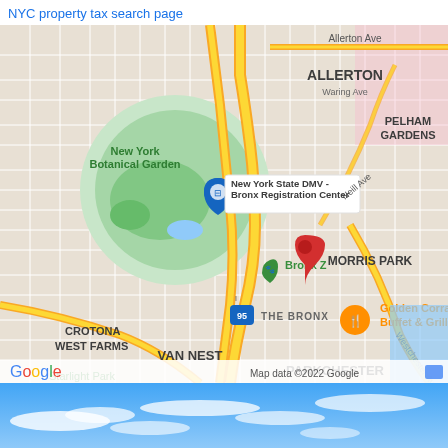NYC property tax search page
[Figure (map): Google Map showing The Bronx, NYC area including neighborhoods: Allerton, Pelham Gardens, Morris Park, The Bronx, Van Nest, Parkchester, Crotona, West Farms, Starlight Park. Shows New York Botanical Garden, Bronx Zoo, New York State DMV Bronx Registration Center, Golden Corral Buffet & Grill. A red location pin marks a property in The Bronx. Interstate 95 shown. Map data ©2022 Google.]
[Figure (photo): Blue sky with wispy white clouds photograph.]